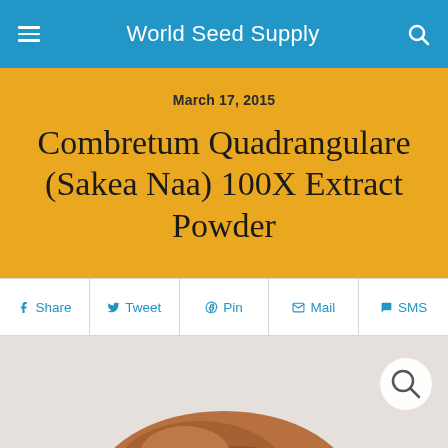World Seed Supply
March 17, 2015
Combretum Quadrangulare (Sakea Naa) 100X Extract Powder
Share  Tweet  Pin  Mail  SMS
[Figure (photo): Product photo of Combretum Quadrangulare (Sakea Naa) 100X Extract Powder in a container, shown from above on a light background]